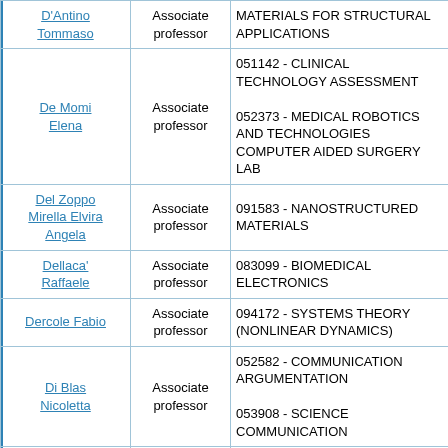| Name | Role | Course |
| --- | --- | --- |
| D'Antino Tommaso | Associate professor | MATERIALS FOR STRUCTURAL APPLICATIONS |
| De Momi Elena | Associate professor | 051142 - CLINICAL TECHNOLOGY ASSESSMENT
052373 - MEDICAL ROBOTICS AND TECHNOLOGIES COMPUTER AIDED SURGERY LAB |
| Del Zoppo Mirella Elvira Angela | Associate professor | 091583 - NANOSTRUCTURED MATERIALS |
| Dellaca' Raffaele | Associate professor | 083099 - BIOMEDICAL ELECTRONICS |
| Dercole Fabio | Associate professor | 094172 - SYSTEMS THEORY (NONLINEAR DYNAMICS) |
| Di Blas Nicoletta | Associate professor | 052582 - COMMUNICATION ARGUMENTATION
053908 - SCIENCE COMMUNICATION |
| Dubini Gabriele Angelo | Full professor | 096253 - TRANSPORT PHENOMENA IN BIOLOGICAL SYSTEMS |
| Epifani Ilenia | Associate professor | 085854 - BASIC STATISTICS AND... |